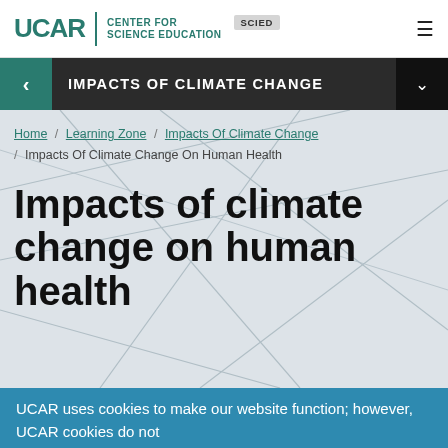UCAR | CENTER FOR SCIENCE EDUCATION — SCIED
IMPACTS OF CLIMATE CHANGE
Home / Learning Zone / Impacts Of Climate Change / Impacts Of Climate Change On Human Health
Impacts of climate change on human health
UCAR uses cookies to make our website function; however, UCAR cookies do not